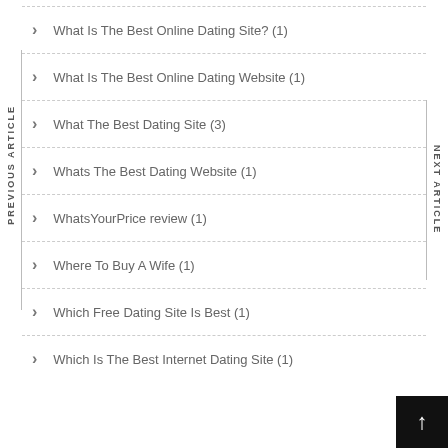What Is The Best Online Dating Site? (1)
What Is The Best Online Dating Website (1)
What The Best Dating Site (3)
Whats The Best Dating Website (1)
WhatsYourPrice review (1)
Where To Buy A Wife (1)
Which Free Dating Site Is Best (1)
Which Is The Best Internet Dating Site (1)